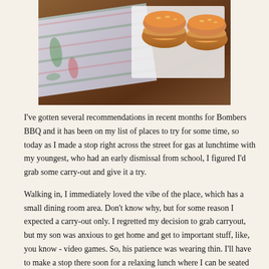[Figure (photo): A photo of food items (likely BBQ/burgers) on a table with a patterned cloth/napkin and a wooden surface visible.]
I've gotten several recommendations in recent months for Bombers BBQ and it has been on my list of places to try for some time, so today as I made a stop right across the street for gas at lunchtime with my youngest, who had an early dismissal from school, I figured I'd grab some carry-out and give it a try.
Walking in, I immediately loved the vibe of the place, which has a small dining room area. Don't know why, but for some reason I expected a carry-out only. I regretted my decision to grab carryout, but my son was anxious to get home and get to important stuff, like, you know - video games. So, his patience was wearing thin. I'll have to make a stop there soon for a relaxing lunch where I can be seated and maybe even enjoy a tasty beverage -- I